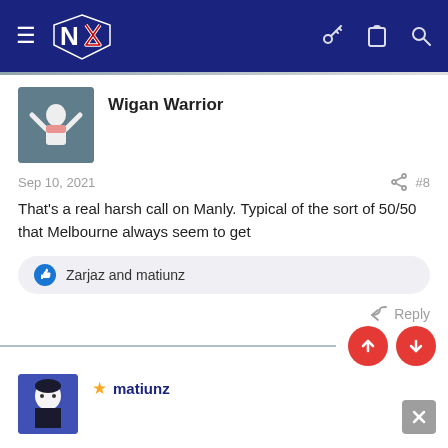NZ Warriors forum navigation bar
Wigan Warrior
Sep 10, 2021  #8
That's a real harsh call on Manly. Typical of the sort of 50/50 that Melbourne always seem to get
Zarjaz and matiunz
Reply
matiunz